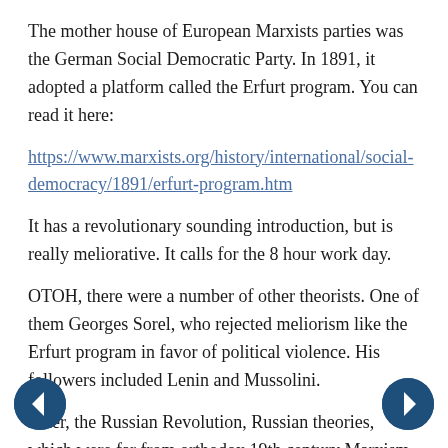The mother house of European Marxists parties was the German Social Democratic Party. In 1891, it adopted a platform called the Erfurt program. You can read it here:
https://www.marxists.org/history/international/social-democracy/1891/erfurt-program.htm
It has a revolutionary sounding introduction, but is really meliorative. It calls for the 8 hour work day.
OTOH, there were a number of other theorists. One of them Georges Sorel, who rejected meliorism like the Erfurt program in favor of political violence. His followers included Lenin and Mussolini.
After, the Russian Revolution, Russian theories, which were far from orthodox 19th century Marxism, dominated Comintern. The Russians solved theoretical disagreements with ice axes in the back of the head.
The rise of Fascism in Italy and Germany was something